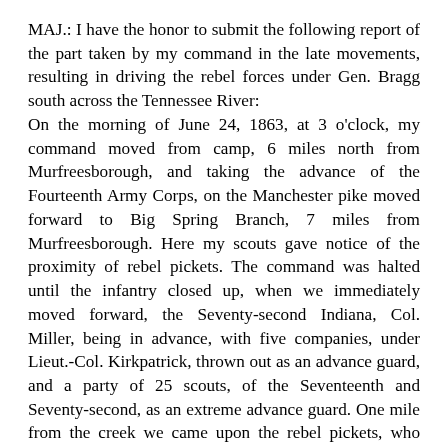MAJ.: I have the honor to submit the following report of the part taken by my command in the late movements, resulting in driving the rebel forces under Gen. Bragg south across the Tennessee River: On the morning of June 24, 1863, at 3 o'clock, my command moved from camp, 6 miles north from Murfreesborough, and taking the advance of the Fourteenth Army Corps, on the Manchester pike moved forward to Big Spring Branch, 7 miles from Murfreesborough. Here my scouts gave notice of the proximity of rebel pickets. The command was halted until the infantry closed up, when we immediately moved forward, the Seventy-second Indiana, Col. Miller, being in advance, with five companies, under Lieut.-Col. Kirkpatrick, thrown out as an advance guard, and a party of 25 scouts, of the Seventeenth and Seventy-second, as an extreme advance guard. One mile from the creek we came upon the rebel pickets, who opened fire on the advance, which was returned by our men, driving the rebels to a hill thickly covered with cedars, where the rebel reserves were drawn up under cover of the hill, and